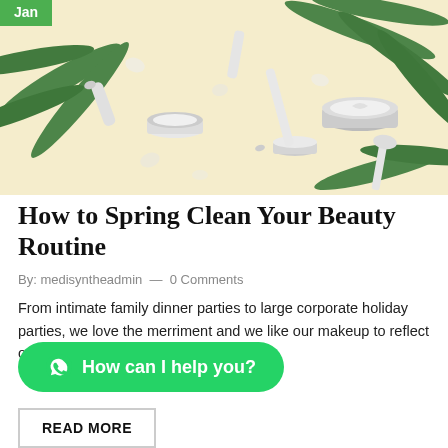[Figure (photo): Flat lay of various beauty and skincare products (creams, tubes, serums) on a pale yellow background with green tropical leaves. A green 'Jan' badge overlaid in the top-left corner.]
How to Spring Clean Your Beauty Routine
By: medisyntheadmin  —  0 Comments
From intimate family dinner parties to large corporate holiday parties, we love the merriment and we like our makeup to reflect our festive mood.
How can I help you?
READ MORE